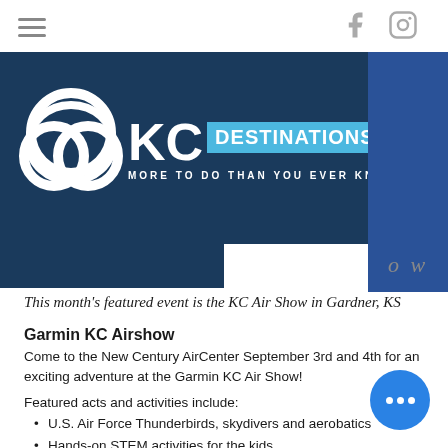[Figure (logo): KC Destinations logo with navy blue background, white interlocking circles, KC in large white text, DESTINATIONS in blue box, tagline MORE TO DO THAN YOU EVER KNEW]
o w
This month's featured event is the KC Air Show in Gardner, KS
Garmin KC Airshow
Come to the New Century AirCenter September 3rd and 4th for an exciting adventure at the Garmin KC Air Show!
Featured acts and activities include:
U.S. Air Force Thunderbirds, skydivers and aerobatics
Hands-on STEM activities for the kids
The story of the Tuskegee Airmen – America's first black military pilots
Photo opportunities taken in a "Top Gun" F-18!